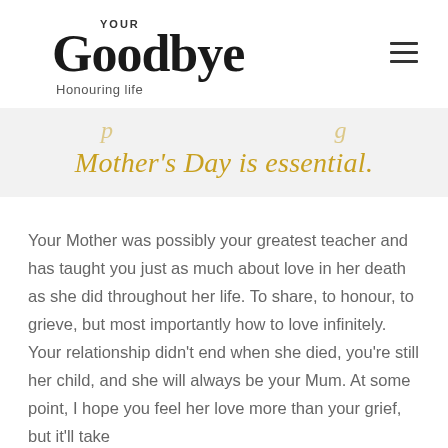YOUR Goodbye — Honouring life
Mother's Day is essential.
Your Mother was possibly your greatest teacher and has taught you just as much about love in her death as she did throughout her life. To share, to honour, to grieve, but most importantly how to love infinitely. Your relationship didn't end when she died, you're still her child, and she will always be your Mum. At some point, I hope you feel her love more than your grief, but it'll take